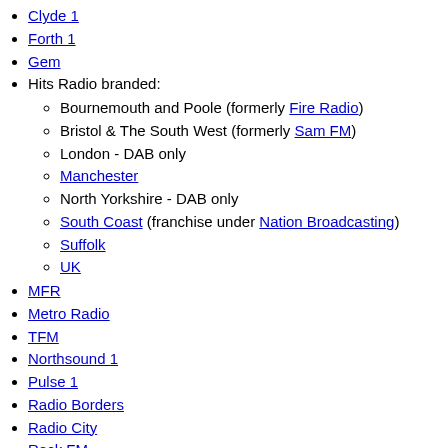Clyde 1
Forth 1
Gem
Hits Radio branded:
Bournemouth and Poole (formerly Fire Radio)
Bristol & The South West (formerly Sam FM)
London - DAB only
Manchester
North Yorkshire - DAB only
South Coast (franchise under Nation Broadcasting)
Suffolk
UK
MFR
Metro Radio
TFM
Northsound 1
Pulse 1
Radio Borders
Radio City
Rock FM
Hallam FM
Viking FM
Tay FM
The Wave
West FM